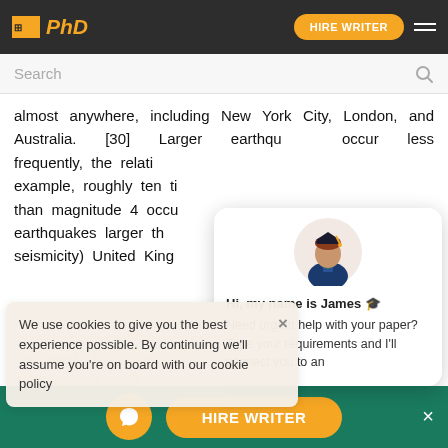IPhD | HIRE WRITER
Search
almost anywhere, including New York City, London, and Australia. [30] Larger earthquakes occur less frequently, the relation... example, roughly ten ti... than magnitude 4 occu... earthquakes larger th... seismicity) United King...
[Figure (illustration): Chat popup with illustrated avatar of James wearing graduation cap and gown. Text: Hi, my name is James. Need urgent help with your paper? Type your requirements and I'll connect you to an]
We use cookies to give you the best experience possible. By continuing we'll assume you're on board with our cookie policy
calculated that the earthquake of 3 a–b 7–5.5 every 10 years larger every 100 years
Gutenberg-Richter law. The missing earthquake and
HIRE WRITER